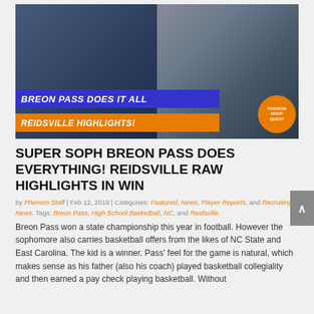[Figure (photo): Basketball player in dark jersey standing on court on left side; basketball hoop on right side. Blue banner overlay reading 'BREON PASS DOES IT ALL' and orange banner reading 'REIDSVILLE HIGHLIGHTS!' with Phenom Hoop Quest logo badge.]
SUPER SOPH BREON PASS DOES EVERYTHING! REIDSVILLE RAW HIGHLIGHTS IN WIN
by Phenom Staff | Feb 12, 2019 | Categories: Featured, News, Player Reports, and Recruiting News. Tags: Breon Pass, High School Basketball, NC, and Reidsville.
Breon Pass won a state championship this year in football. However the sophomore also carries basketball offers from the likes of NC State and East Carolina. The kid is a winner. Pass' feel for the game is natural, which makes sense as his father (also his coach) played basketball collegiality and then earned a pay check playing basketball. Without